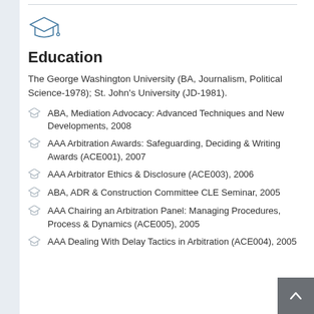[Figure (illustration): Graduation cap icon (outline style, blue-gray color)]
Education
The George Washington University (BA, Journalism, Political Science-1978); St. John's University (JD-1981).
ABA, Mediation Advocacy: Advanced Techniques and New Developments, 2008
AAA Arbitration Awards: Safeguarding, Deciding & Writing Awards (ACE001), 2007
AAA Arbitrator Ethics & Disclosure (ACE003), 2006
ABA, ADR & Construction Committee CLE Seminar, 2005
AAA Chairing an Arbitration Panel: Managing Procedures, Process & Dynamics (ACE005), 2005
AAA Dealing With Delay Tactics in Arbitration (ACE004), 2005